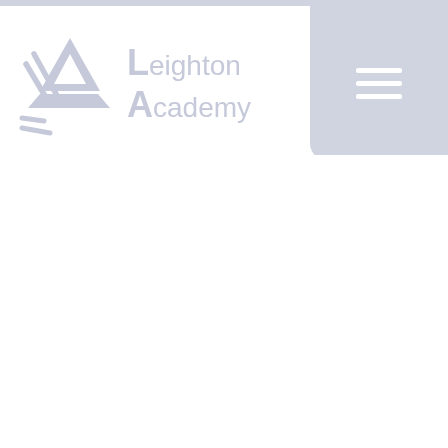Leighton Academy
[Figure (logo): Leighton Academy logo with stylized mountain/triangle graphic and text 'Leighton Academy' in light grey, accompanied by a hamburger menu button on the right]